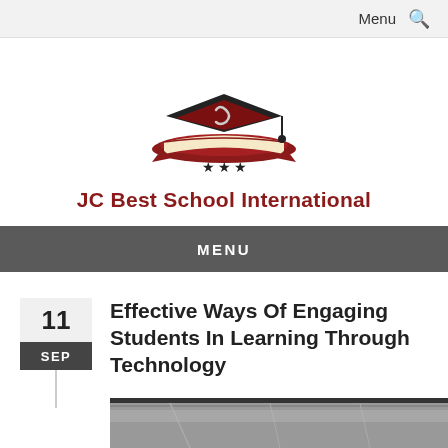Menu 🔍
[Figure (logo): JC Best School International logo: graduation cap over open book with red ribbon and three stars]
JC Best School International
MENU
11 SEP
Effective Ways Of Engaging Students In Learning Through Technology
[Figure (photo): Partial view of a classroom or technology-equipped room, bottom strip visible]